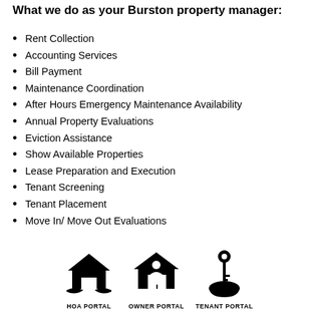What we do as your Burston property manager:
Rent Collection
Accounting Services
Bill Payment
Maintenance Coordination
After Hours Emergency Maintenance Availability
Annual Property Evaluations
Eviction Assistance
Show Available Properties
Lease Preparation and Execution
Tenant Screening
Tenant Placement
Move In/ Move Out Evaluations
[Figure (infographic): Three portal icons in a row: HOA PORTAL (house with hands cradling it), OWNER PORTAL (house with person silhouette), TENANT PORTAL (hand holding a key)]